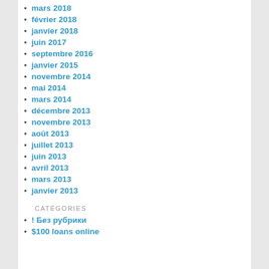mars 2018
février 2018
janvier 2018
juin 2017
septembre 2016
janvier 2015
novembre 2014
mai 2014
mars 2014
décembre 2013
novembre 2013
août 2013
juillet 2013
juin 2013
avril 2013
mars 2013
janvier 2013
CATÉGORIES
! Без рубрики
$100 loans online